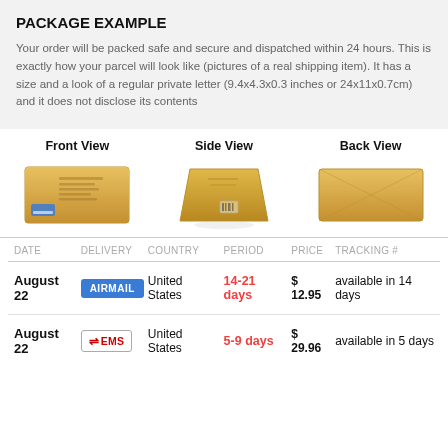PACKAGE EXAMPLE
Your order will be packed safe and secure and dispatched within 24 hours. This is exactly how your parcel will look like (pictures of a real shipping item). It has a size and a look of a regular private letter (9.4x4.3x0.3 inches or 24x11x0.7cm) and it does not disclose its contents
[Figure (photo): Three views of a padded golden/yellow envelope package: Front View (showing address labels and stamps), Side View (showing the envelope from the side at an angle), Back View (plain back of envelope)]
| DATE | DELIVERY | COUNTRY | PERIOD | PRICE | TRACKING # |
| --- | --- | --- | --- | --- | --- |
| August 22 | AIRMAIL | United States | 14-21 days | $ 12.95 | available in 14 days |
| August 22 | EMS | United States | 5-9 days | $ 29.96 | available in 5 days |